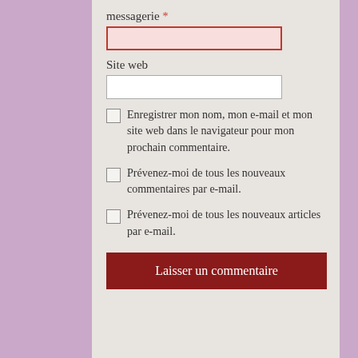messagerie *
Site web
Enregistrer mon nom, mon e-mail et mon site web dans le navigateur pour mon prochain commentaire.
Prévenez-moi de tous les nouveaux commentaires par e-mail.
Prévenez-moi de tous les nouveaux articles par e-mail.
Laisser un commentaire